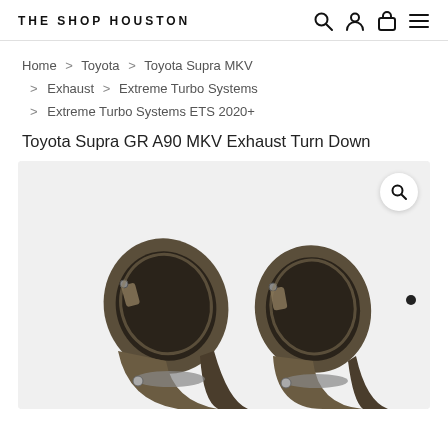THE SHOP HOUSTON
Home > Toyota > Toyota Supra MKV > Exhaust > Extreme Turbo Systems > Extreme Turbo Systems ETS 2020+
Toyota Supra GR A90 MKV Exhaust Turn Down
[Figure (photo): Two dark titanium/bronze colored exhaust turn-down pipe fittings with mounting brackets, shown side by side against a light grey background.]